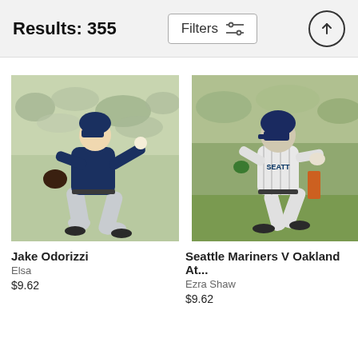Results: 355
[Figure (photo): Jake Odorizzi Tampa Bay Rays pitcher in pitching stance on mound, crowd in background]
Jake Odorizzi
Elsa
$9.62
[Figure (photo): Seattle Mariners player running on basepath at Oakland Athletics game]
Seattle Mariners V Oakland At...
Ezra Shaw
$9.62